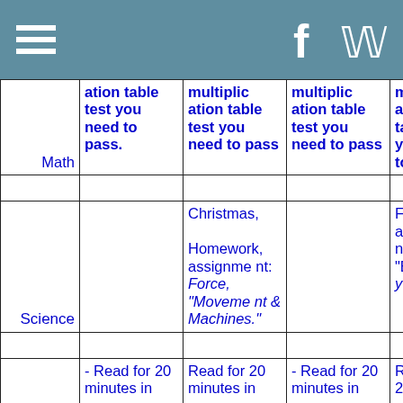Navigation header with hamburger menu and social icons (Facebook, Twitter)
|  | Col1 | Col2 | Col3 | Col4 |
| --- | --- | --- | --- | --- |
| Math | ation table test you need to pass. | multiplic ation table test you need to pass | multiplic ation table test you need to pass | m at ta y to |
|  |  |  |  |  |
| Science |  | Christmas, Homework, assignment: Force, "Movement & Machines." |  | Fi as nt "E y |
|  |  |  |  |  |
|  | - Read for 20 minutes in | Read for 20 minutes in | - Read for 20 minutes in | R 20 m |